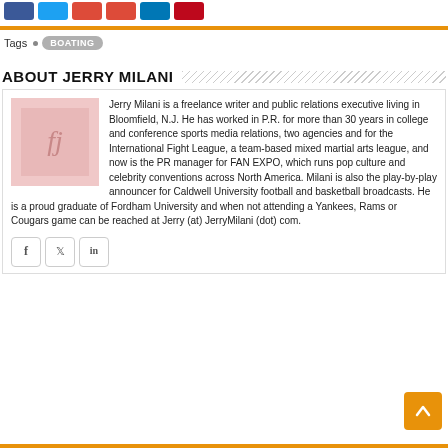[Figure (other): Row of social media share buttons (Facebook blue, Twitter cyan, Google+ red, Pinterest red, LinkedIn blue, another red)]
Tags  • BOATING
ABOUT JERRY MILANI
[Figure (photo): Photo of Jerry Milani, showing a sports-related image with a logo]
Jerry Milani is a freelance writer and public relations executive living in Bloomfield, N.J. He has worked in P.R. for more than 30 years in college and conference sports media relations, two agencies and for the International Fight League, a team-based mixed martial arts league, and now is the PR manager for FAN EXPO, which runs pop culture and celebrity conventions across North America. Milani is also the play-by-play announcer for Caldwell University football and basketball broadcasts. He is a proud graduate of Fordham University and when not attending a Yankees, Rams or Cougars game can be reached at Jerry (at) JerryMilani (dot) com.
[Figure (other): Social icons: Facebook, Twitter, LinkedIn]